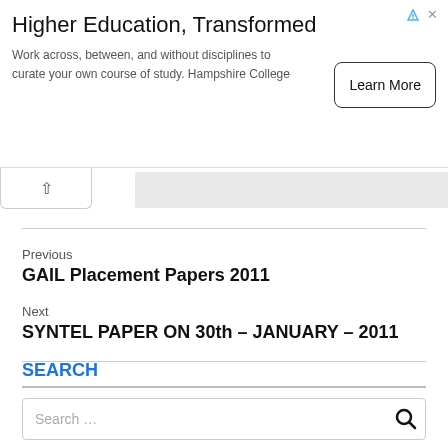[Figure (other): Advertisement banner for Hampshire College: 'Higher Education, Transformed — Work across, between, and without disciplines to curate your own course of study. Hampshire College' with a Learn More button.]
Previous
GAIL Placement Papers 2011
Next
SYNTEL PAPER ON 30th – JANUARY – 2011
SEARCH